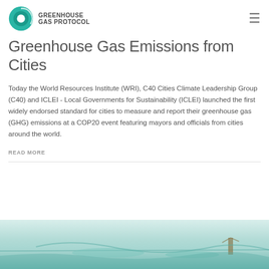GREENHOUSE GAS PROTOCOL
Greenhouse Gas Emissions from Cities
Today the World Resources Institute (WRI), C40 Cities Climate Leadership Group (C40) and ICLEI - Local Governments for Sustainability (ICLEI) launched the first widely endorsed standard for cities to measure and report their greenhouse gas (GHG) emissions at a COP20 event featuring mayors and officials from cities around the world.
READ MORE
[Figure (photo): Aerial or landscape photo with teal/green tones, partially visible at the bottom of the page]